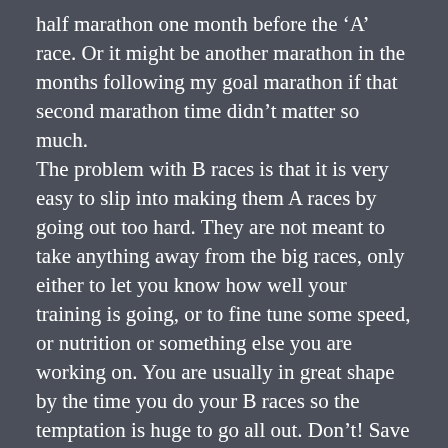half marathon one month before the ‘A’ race. Or it might be another marathon in the months following my goal marathon if that second marathon time didn’t matter so much.
The problem with B races is that it is very easy to slip into making them A races by going out too hard. They are not meant to take anything away from the big races, only either to let you know how well your training is going, or to fine tune some speed, or nutrition or something else you are working on. You are usually in great shape by the time you do your B races so the temptation is huge to go all out. Don’t! Save it for the big ones. Don’t risk injury.